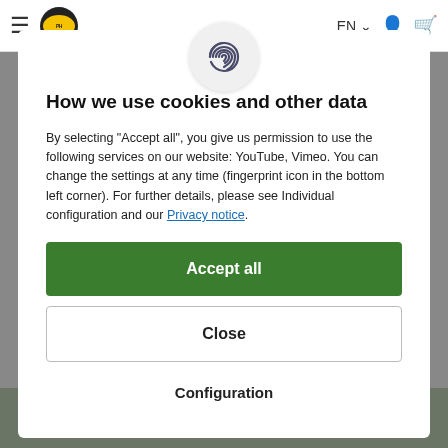EN [navigation bar with logo, menu, language selector, account and cart icons]
[Figure (illustration): Fingerprint icon in a light grey circle, centered at top of modal]
How we use cookies and other data
By selecting "Accept all", you give us permission to use the following services on our website: YouTube, Vimeo. You can change the settings at any time (fingerprint icon in the bottom left corner). For further details, please see Individual configuration and our Privacy notice.
Accept all
Close
Configuration